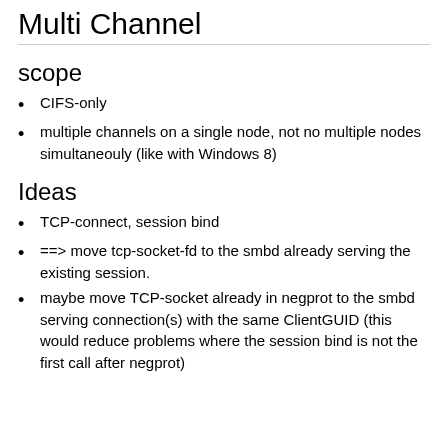Multi Channel
scope
CIFS-only
multiple channels on a single node, not no multiple nodes simultaneouly (like with Windows 8)
Ideas
TCP-connect, session bind
==> move tcp-socket-fd to the smbd already serving the existing session.
maybe move TCP-socket already in negprot to the smbd serving connection(s) with the same ClientGUID (this would reduce problems where the session bind is not the first call after negprot)